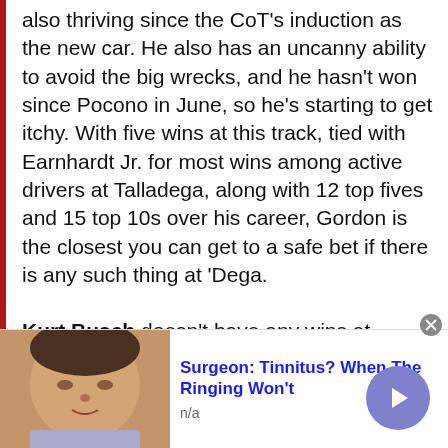also thriving since the CoT's induction as the new car. He also has an uncanny ability to avoid the big wrecks, and he hasn't won since Pocono in June, so he's starting to get itchy. With five wins at this track, tied with Earnhardt Jr. for most wins among active drivers at Talladega, along with 12 top fives and 15 top 10s over his career, Gordon is the closest you can get to a safe bet if there is any such thing at 'Dega.
Kurt Busch doesn't have any wins at Talladega, but he does have six top fives, 10 top 10s and an average finish of 10.2, which is even better than Gordon himself. Busch
[Figure (photo): Advertisement banner showing a person's face (likely a medical ad) with text: 'Surgeon: Tinnitus? When The Ringing Won't' and 'n/a', along with a blue arrow button and close button.]